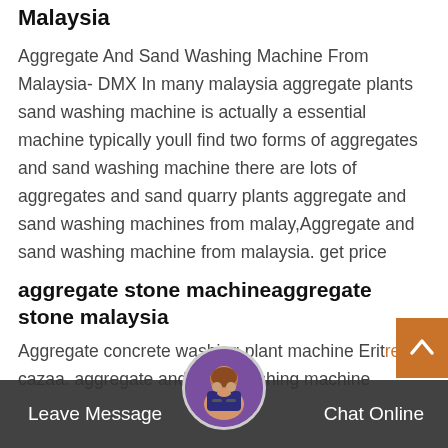Aggregate And Sand Washing Machine From Malaysia
Aggregate And Sand Washing Machine From Malaysia- DMX In many malaysia aggregate plants sand washing machine is actually a essential machine typically youll find two forms of aggregates and sand washing machine there are lots of aggregates and sand quarry plants aggregate and sand washing machines from malay,Aggregate and sand washing machine from malaysia. get price
aggregate stone machineaggregate stone malaysia
Aggregate concrete washing plant machine Eritrea cazaa. aggregate and sand washing machine malaysia Aggregate Washing Plant is a sand processing system with either Wheel Sand Washing
Leave Message   Chat Online